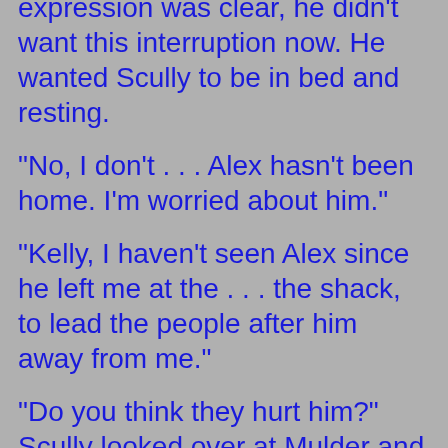expression was clear, he didn't want this interruption now. He wanted Scully to be in bed and resting.
"No, I don't . . . Alex hasn't been home. I'm worried about him."
"Kelly, I haven't seen Alex since he left me at the . . . the shack, to lead the people after him away from me."
"Do you think they hurt him?" Scully looked over at Mulder and Kelly saw the exchange. "You do." Her breath got shallow. "Is he . . . is Alex dead?"
Mulder moved over closer to Kelly. "Look, we don't know and we have no reason to believe he is. I didn't . . . I wasn't involved in the search today, but I'll check into it first thing tomorrow. I need you to try to relax tonight. Krycek can take care of himself, he